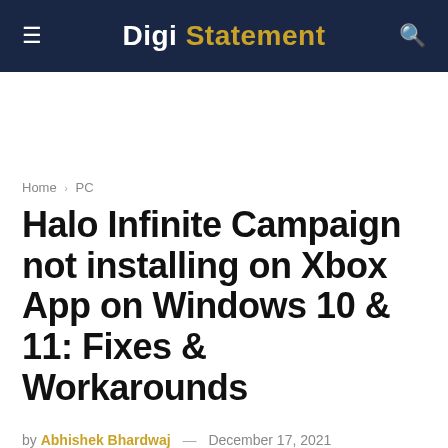Digi Statement
Home › PC
Halo Infinite Campaign not installing on Xbox App on Windows 10 & 11: Fixes & Workarounds
by Abhishek Bhardwaj — December 17, 2021